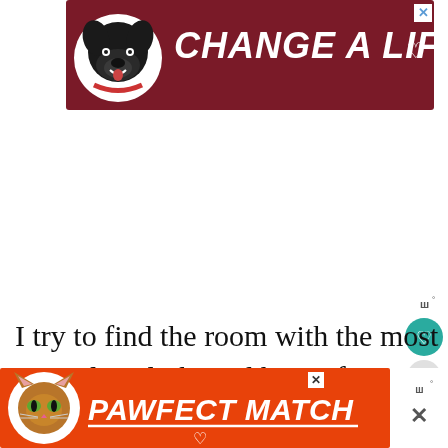[Figure (infographic): Advertisement banner with dark red background, a black dog in a white circle on left, and bold italic white text reading 'CHANGE A LIFE' with a heart symbol. Close button (X) in top right corner.]
I try to find the room with the most natural sunlight and heat. If you don't have a spot your home for light and warmth go ahead
[Figure (infographic): Advertisement banner with orange-red background, a tabby cat in a white circle on left, and bold italic white text reading 'PAWFECT MATCH'. Close button (X) visible. Small heart symbol at bottom.]